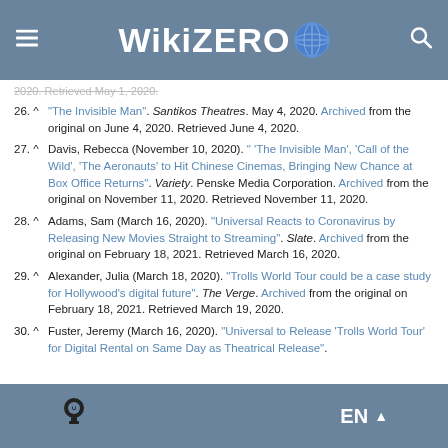WikiZero
2020. Retrieved May 1, 2020.
26. ^ "The Invisible Man". Santikos Theatres. May 4, 2020. Archived from the original on June 4, 2020. Retrieved June 4, 2020.
27. ^ Davis, Rebecca (November 10, 2020). " 'The Invisible Man', 'Call of the Wild', 'The Aeronauts' to Hit Chinese Cinemas, Bringing New Chance at Box Office Returns". Variety. Penske Media Corporation. Archived from the original on November 11, 2020. Retrieved November 11, 2020.
28. ^ Adams, Sam (March 16, 2020). "Universal Reacts to Coronavirus by Releasing New Movies Straight to Streaming". Slate. Archived from the original on February 18, 2021. Retrieved March 16, 2020.
29. ^ Alexander, Julia (March 18, 2020). "Trolls World Tour could be a case study for Hollywood's digital future". The Verge. Archived from the original on February 18, 2021. Retrieved March 19, 2020.
30. ^ Fuster, Jeremy (March 16, 2020). "Universal to Release 'Trolls World Tour' for Digital Rental on Same Day as Theatrical Release".
EN